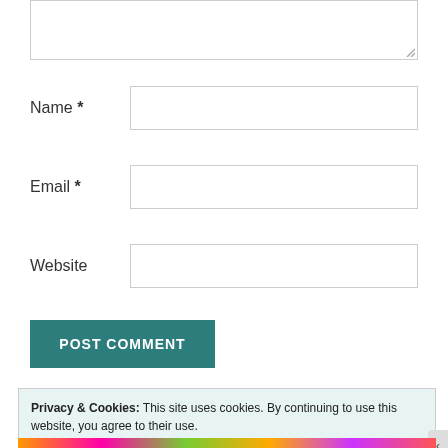[Figure (screenshot): Textarea input box (comment field) with resize handle at bottom right]
Name *
[Figure (screenshot): Name input field (text box)]
Email *
[Figure (screenshot): Email input field (text box)]
Website
[Figure (screenshot): Website input field (text box)]
[Figure (screenshot): POST COMMENT button in teal]
Privacy & Cookies: This site uses cookies. By continuing to use this website, you agree to their use.
To find out more, including how to control cookies, see here: Cookie Policy
Close and accept